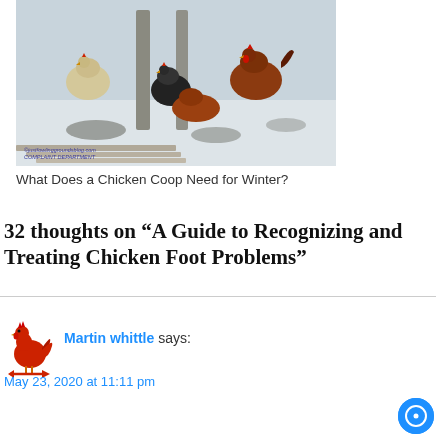[Figure (photo): Chickens standing in snow near wooden fence posts. Watermark reads: justfowlinggroundsblog.com COMPLAINT DEPARTMENT]
What Does a Chicken Coop Need for Winter?
32 thoughts on “A Guide to Recognizing and Treating Chicken Foot Problems”
Martin whittle says:
May 23, 2020 at 11:11 pm